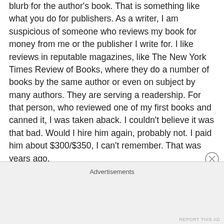blurb for the author's book. That is something like what you do for publishers. As a writer, I am suspicious of someone who reviews my book for money from me or the publisher I write for. I like reviews in reputable magazines, like The New York Times Review of Books, where they do a number of books by the same author or even on subject by many authors. They are serving a readership. For that person, who reviewed one of my first books and canned it, I was taken aback. I couldn't believe it was that bad. Would I hire him again, probably not. I paid him about $300/$350, I can't remember. That was years ago.
Advertisements